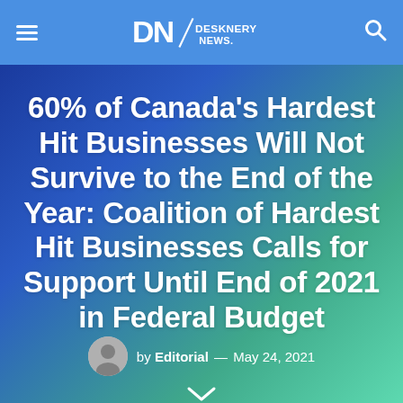DN DESKNERY NEWS.
60% of Canada's Hardest Hit Businesses Will Not Survive to the End of the Year: Coalition of Hardest Hit Businesses Calls for Support Until End of 2021 in Federal Budget
by Editorial — May 24, 2021